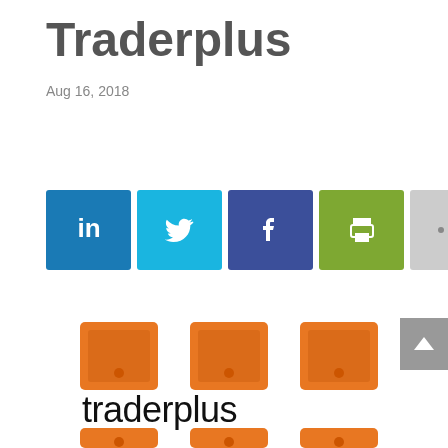Traderplus
Aug 16, 2018
[Figure (infographic): Social sharing buttons row: LinkedIn (blue), Twitter (light blue), Facebook (dark blue), Print (green), More/ellipsis (gray)]
[Figure (logo): Traderplus logo with orange square icons and 'traderplus' text in black]